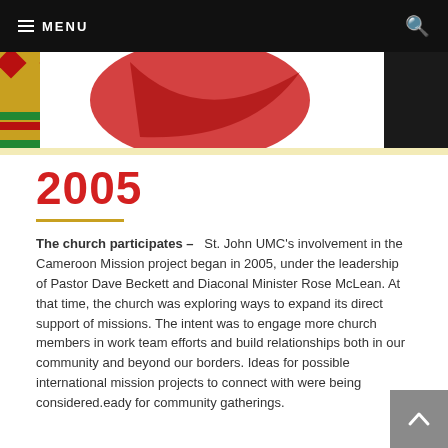MENU [navigation bar with search icon]
[Figure (photo): Website header image showing colorful African fabric pattern background with a white box containing a red decorative shape, dark area to the right]
2005
The church participates – St. John UMC's involvement in the Cameroon Mission project began in 2005, under the leadership of Pastor Dave Beckett and Diaconal Minister Rose McLean. At that time, the church was exploring ways to expand its direct support of missions. The intent was to engage more church members in work team efforts and build relationships both in our community and beyond our borders. Ideas for possible international mission projects to connect with were being considered.eady for community gatherings.